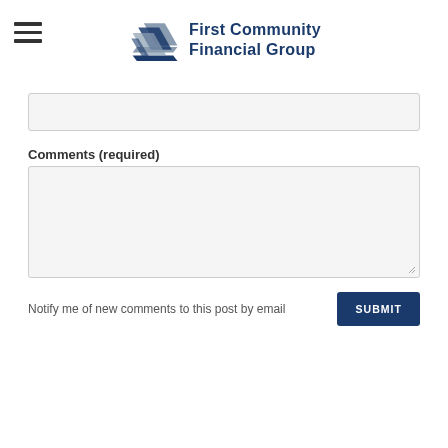[Figure (logo): First Community Financial Group logo with stylized arrow/wing mark in grey and blue, and bold blue text reading 'First Community Financial Group']
Comments (required)
Notify me of new comments to this post by email
SUBMIT